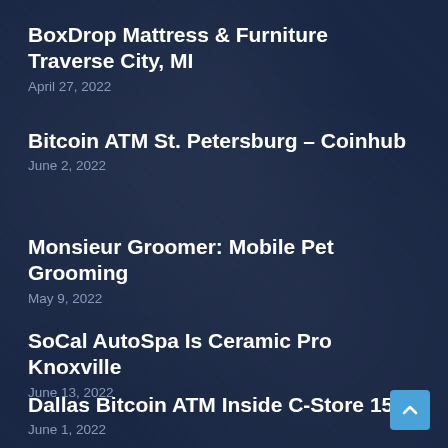BoxDrop Mattress & Furniture Traverse City, MI
April 27, 2022
Bitcoin ATM St. Petersburg – Coinhub
June 2, 2022
Monsieur Groomer: Mobile Pet Grooming
May 9, 2022
SoCal AutoSpa Is Ceramic Pro Knoxville
June 13, 2022
Dallas Bitcoin ATM Inside C-Store 15
June 1, 2022